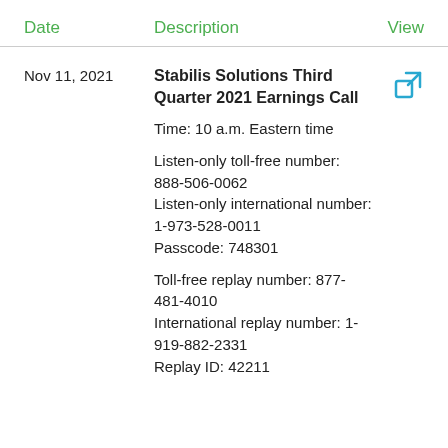| Date | Description | View |
| --- | --- | --- |
| Nov 11, 2021 | Stabilis Solutions Third Quarter 2021 Earnings Call

Time: 10 a.m. Eastern time

Listen-only toll-free number: 888-506-0062
Listen-only international number: 1-973-528-0011
Passcode: 748301

Toll-free replay number: 877-481-4010
International replay number: 1-919-882-2331
Replay ID: 42211 | [link icon] |